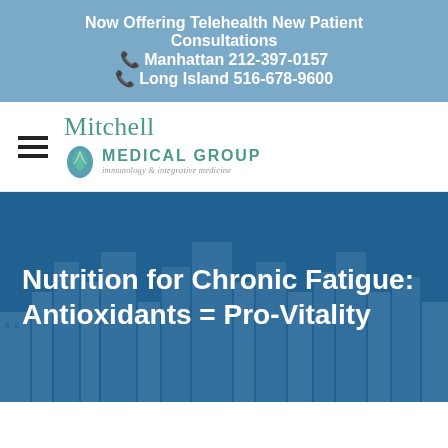Now Offering Telehealth New Patient Consultations
☎ Manhattan 212-397-0157
☎ Long Island 516-678-9600
[Figure (logo): Mitchell Medical Group logo — teal text with a droplet/leaf icon. Tagline: immunology & integrative medicine]
Nutrition for Chronic Fatigue: Antioxidants = Pro-Vitality